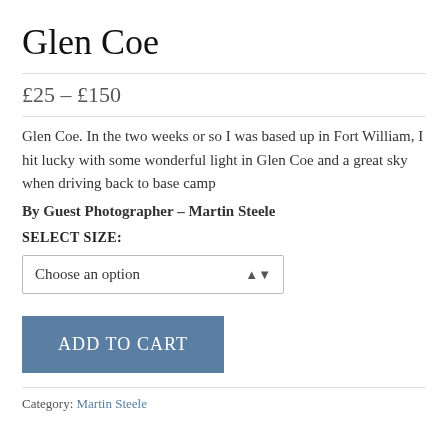Glen Coe
£25 – £150
Glen Coe. In the two weeks or so I was based up in Fort William, I hit lucky with some wonderful light in Glen Coe and a great sky when driving back to base camp
By Guest Photographer – Martin Steele
SELECT SIZE:
Choose an option
ADD TO CART
Category: Martin Steele